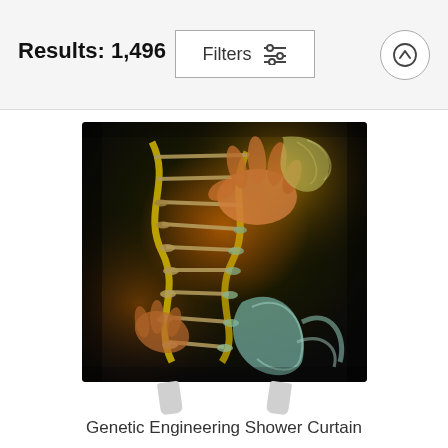Results: 1,496
Filters
[Figure (photo): A shower curtain product displaying an artistic illustration of genetic engineering – hands manipulating a DNA double helix strand with cylindrical elements, rendered in golden yellow, orange, and teal tones on a black background.]
Genetic Engineering Shower Curtain